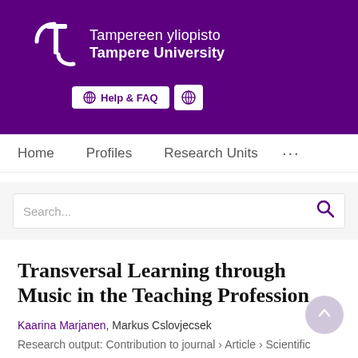[Figure (logo): Tampereen yliopisto / Tampere University logo on purple background with Help & FAQ and globe buttons]
Home   Profiles   Research Units   ...
Search...
Transversal Learning through Music in the Teaching Profession
Kaarina Marjanen, Markus Cslovjecsek
Research output: Contribution to journal › Article › Scientific